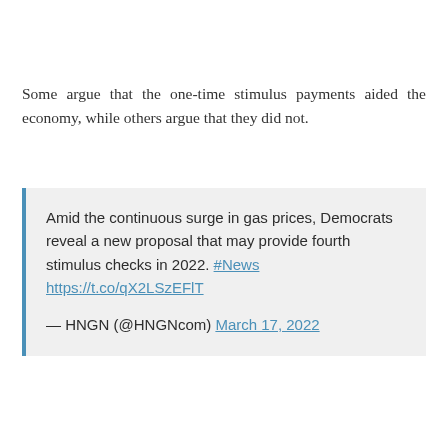Some argue that the one-time stimulus payments aided the economy, while others argue that they did not.
Amid the continuous surge in gas prices, Democrats reveal a new proposal that may provide fourth stimulus checks in 2022. #News https://t.co/qX2LSzEFlT

— HNGN (@HNGNcom) March 17, 2022